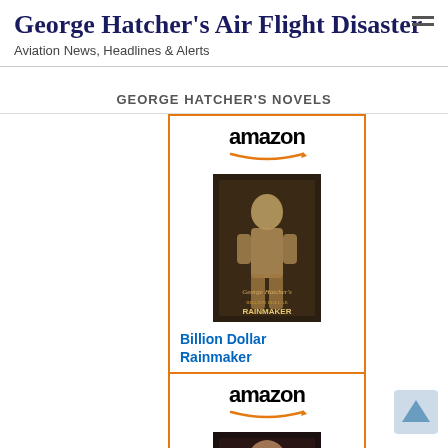George Hatcher's Air Flight Disaster
Aviation News, Headlines & Alerts
GEORGE HATCHER'S NOVELS
[Figure (screenshot): Amazon ad widget for book 'Billion Dollar Rainmaker' by George Hatcher, showing Amazon logo with arrow, book cover image of a child, title in blue, price $64.98, Prime badge, and Shop now button in gold]
[Figure (screenshot): Amazon ad widget (partial, bottom of page) showing Amazon logo with arrow and partial book cover image of another George Hatcher novel]